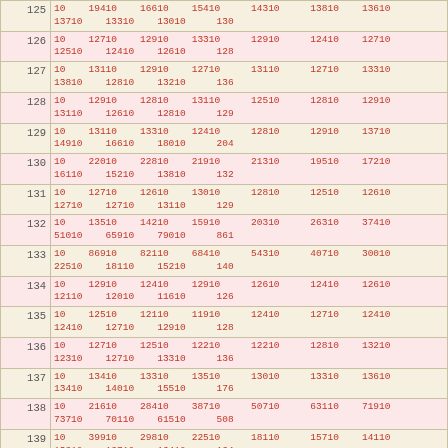| ID | Data |
| --- | --- |
| 125 | 10  19410  16610  15410  14310  13810  13610
13710  13310  13010  130 |
| 126 | 10  12710  12910  13310  12910  12410  12710
12510  12410  12610  128 |
| 127 | 10  13110  12910  12710  13110  12710  13310
13810  12810  13210  136 |
| 128 | 10  12910  12810  13110  12510  12810  12910
13110  12610  12810  129 |
| 129 | 10  13110  13310  12410  12810  12910  13710
14910  16610  18010  204 |
| 130 | 10  22010  22810  21910  21310  19510  17210
16110  15210  13810  132 |
| 131 | 10  12710  12610  13010  12810  12510  12610
12710  12710  13110  129 |
| 132 | 10  13510  14210  15910  20310  26310  37410
51010  65910  79010  861 |
| 133 | 10  86910  82110  68410  54310  40710  30010
22510  18110  15210  140 |
| 134 | 10  12910  12410  12910  12610  12410  12610
12110  12010  11610  126 |
| 135 | 10  12510  12110  11910  12410  12710  12410
12410  12710  12910  128 |
| 136 | 10  12710  12510  12210  12210  12810  13210
12310  12710  13310  136 |
| 137 | 10  13410  13310  13510  13010  13310  13610
13410  14010  15510  176 |
| 138 | 10  21610  28410  38710  50710  63110  71910
73710  70110  61510  508 |
| 139 | 10  39910  29810  22510  18110  15710  14110
13210  12710  12410  124 |
| 140 | 10  11810  12210  12310  12610  13110  13510
14010  15710  18510  241 |
| 141 | 10  32510  40510  50610  57210  60310  59010
51910  43910  34610  272 |
| 142 | 10  ...  ...  ...  ...  ...  ... |